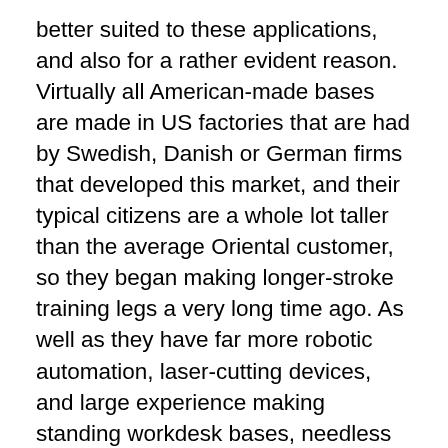better suited to these applications, and also for a rather evident reason. Virtually all American-made bases are made in US factories that are had by Swedish, Danish or German firms that developed this market, and their typical citizens are a whole lot taller than the average Oriental customer, so they began making longer-stroke training legs a very long time ago. As well as they have far more robotic automation, laser-cutting devices, and large experience making standing workdesk bases, needless to say.
But if you're not also high, do not have an extreme amount of heavy tools on your desktop computer, and don't require also wide of a desk, the StandDesk Pro will